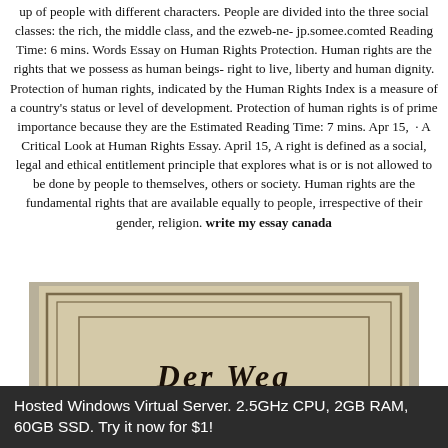up of people with different characters. People are divided into the three social classes: the rich, the middle class, and the ezweb-ne-jp.somee.comted Reading Time: 6 mins. Words Essay on Human Rights Protection. Human rights are the rights that we possess as human beings- right to live, liberty and human dignity. Protection of human rights, indicated by the Human Rights Index is a measure of a country's status or level of development. Protection of human rights is of prime importance because they are the Estimated Reading Time: 7 mins. Apr 15,  · A Critical Look at Human Rights Essay. April 15, A right is defined as a social, legal and ethical entitlement principle that explores what is or is not allowed to be done by people to themselves, others or society. Human rights are the fundamental rights that are available equally to people, irrespective of their gender, religion. write my essay canada
[Figure (photo): Photograph of an old book cover with gothic German text reading 'Der Weg' and 'Siege des Germanenthums über' on a yellowish-beige background with a decorative border.]
Hosted Windows Virtual Server. 2.5GHz CPU, 2GB RAM, 60GB SSD. Try it now for $1!